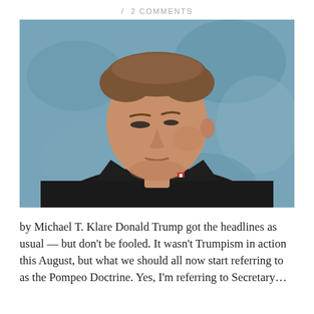/ 2 COMMENTS
[Figure (photo): Portrait photo of Mike Pompeo in a dark suit and orange tie, looking downward, against a blue-gray textured background.]
by Michael T. Klare Donald Trump got the headlines as usual — but don't be fooled. It wasn't Trumpism in action this August, but what we should all now start referring to as the Pompeo Doctrine. Yes, I'm referring to Secretary…